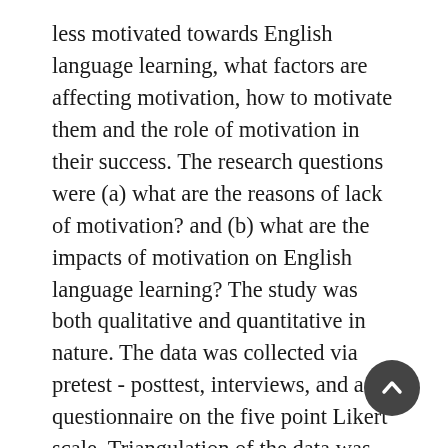less motivated towards English language learning, what factors are affecting motivation, how to motivate them and the role of motivation in their success. The research questions were (a) what are the reasons of lack of motivation? and (b) what are the impacts of motivation on English language learning? The study was both qualitative and quantitative in nature. The data was collected via pretest - posttest, interviews, and a questionnaire on the five point Likert scale. Triangulation of the data was made for the validity of the research. The population of this research consisted of 50 HSC level students from Jatir Janak Bangabandhu Sheikh Mujibur Rahman Government College, Dhaka, Bangladesh. The data was analyzed with means, comparison and t-test. The results showed that there is a strong relation between motivation and success in foreign language learning. Finally, some pedagogical implications and suggestions...